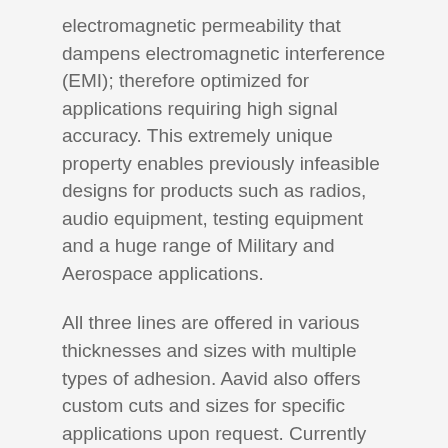electromagnetic permeability that dampens electromagnetic interference (EMI); therefore optimized for applications requiring high signal accuracy. This extremely unique property enables previously infeasible designs for products such as radios, audio equipment, testing equipment and a huge range of Military and Aerospace applications.
All three lines are offered in various thicknesses and sizes with multiple types of adhesion. Aavid also offers custom cuts and sizes for specific applications upon request. Currently materials are available for purchase on the Aavid Estore.
About Aavid Thermalloy
With over 50 years of engineering innovation and manufacturing expertise, Aavid is the thermal